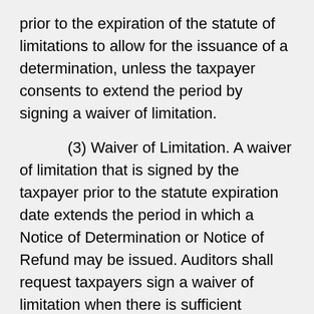prior to the expiration of the statute of limitations to allow for the issuance of a determination, unless the taxpayer consents to extend the period by signing a waiver of limitation.
(3) Waiver of Limitation. A waiver of limitation that is signed by the taxpayer prior to the statute expiration date extends the period in which a Notice of Determination or Notice of Refund may be issued. Auditors shall request taxpayers sign a waiver of limitation when there is sufficient information to indicate that an understatement or overstatement exists, but there is insufficient time to complete the audit before the expiration of the statute of limitations. The auditor should also request a waiver be signed when a taxpayer requests a postponement before the audit begins or while an audit is in process